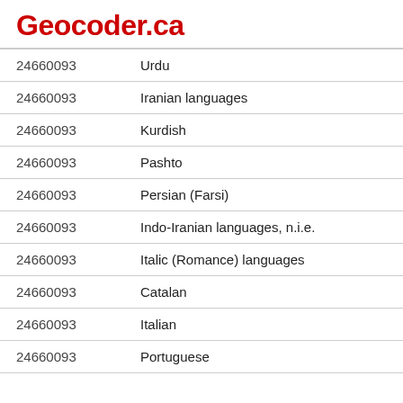Geocoder.ca
| 24660093 | Urdu |
| 24660093 | Iranian languages |
| 24660093 | Kurdish |
| 24660093 | Pashto |
| 24660093 | Persian (Farsi) |
| 24660093 | Indo-Iranian languages, n.i.e. |
| 24660093 | Italic (Romance) languages |
| 24660093 | Catalan |
| 24660093 | Italian |
| 24660093 | Portuguese |